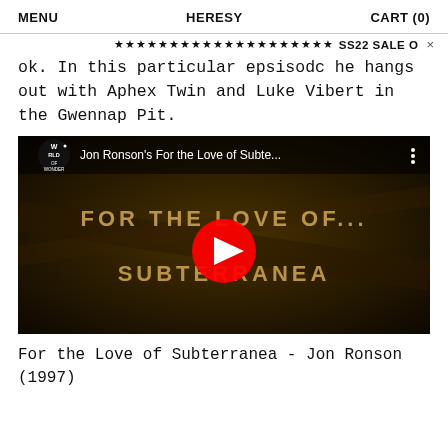MENU    HERESY    CART (0)
★★★★★★★★★★★★★★★★★★★★ SS22 SALE O ×
ok. In this particular epsisodc he hangs out with Aphex Twin and Luke Vibert in the Gwennap Pit.
[Figure (screenshot): YouTube video thumbnail for 'Jon Ronson's For the Love of Subte...' showing dark golden/brown background with text 'FOR THE LOVE OF... SUBTERRANEA' and a red YouTube play button in the center. World of Wonder logo in top left.]
For the Love of Subterranea - Jon Ronson (1997)